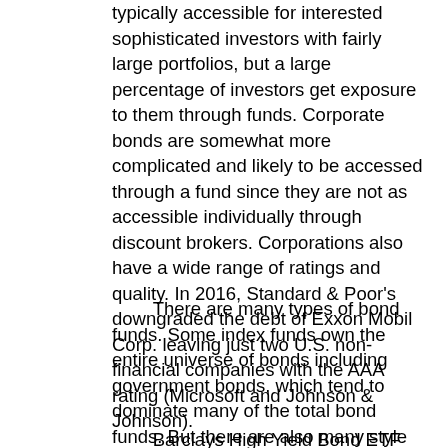typically accessible for interested sophisticated investors with fairly large portfolios, but a large percentage of investors get exposure to them through funds. Corporate bonds are somewhat more complicated and likely to be accessed through a fund since they are not as accessible individually through discount brokers. Corporations also have a wide range of ratings and quality. In 2016, Standard & Poor's downgraded the debt of Exxon Mobil Corp. leaving just two U.S. non-financial companies with the AAA rating (Microsoft and Johnson & Johnson).
There are many types of bond funds. Some index funds own the entire universe of bonds including government bonds, which tend to dominate many of the total bond funds. But there are also many style pure funds. A good default for investment grade corporate bonds is the iShares ETF LQD, which is a diversified fund with over a thousand bonds. LQD is one of the largest ETFs at over $34 billion (late in 2019) and has an annual expense ratio of 0.15%.
Barclays High Yield Bond ETF (ticker JNK)